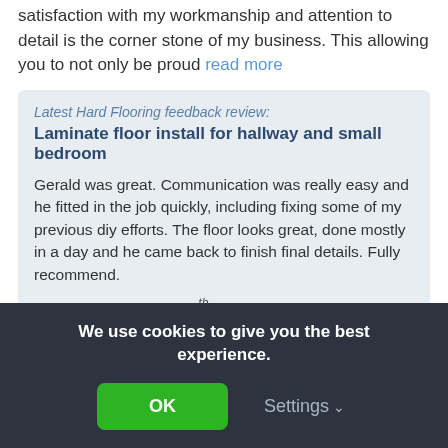satisfaction with my workmanship and attention to detail is the corner stone of my business. This allowing you to not only be proud read more
Latest Hard Flooring feedback review:
Laminate floor install for hallway and small bedroom
Gerald was great. Communication was really easy and he fitted in the job quickly, including fixing some of my previous diy efforts. The floor looks great, done mostly in a day and he came back to finish final details. Fully recommend.
By vanessa34515 on 20th Aug, 2022
We use cookies to give you the best experience.
OK
Settings